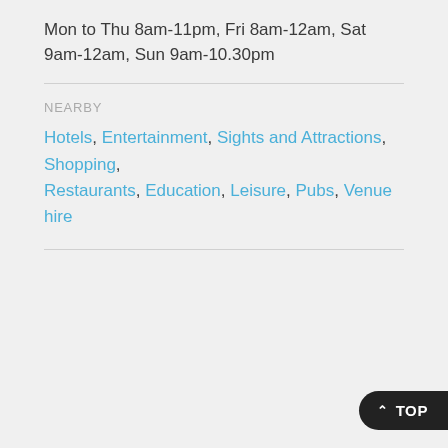Mon to Thu 8am-11pm, Fri 8am-12am, Sat 9am-12am, Sun 9am-10.30pm
NEARBY
Hotels, Entertainment, Sights and Attractions, Shopping, Restaurants, Education, Leisure, Pubs, Venue hire
^ TOP